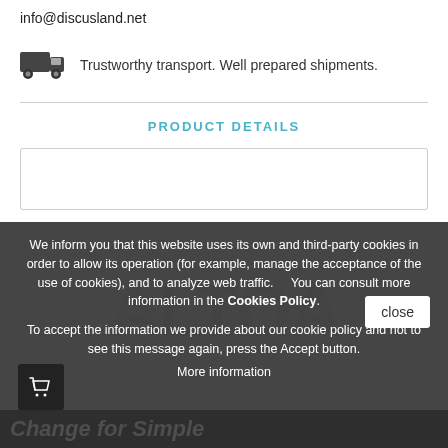info@discusland.net
Trustworthy transport. Well prepared shipments.
PRODUCT DETAILS
[Figure (screenshot): Cookie consent overlay on a website. Text reads: 'We inform you that this website uses its own and third-party cookies in order to allow its operation (for example, manage the acceptance of the use of cookies), and to analyze web traffic. You can consult more information in the Cookies Policy. To accept the information we provide about our cookie policy and not to see this message again, press the Accept button. More information'. A 'close' button is visible on the right side.]